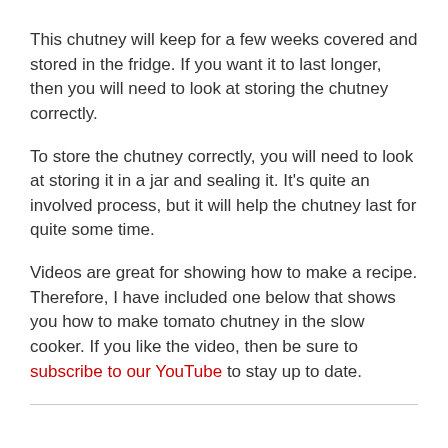This chutney will keep for a few weeks covered and stored in the fridge. If you want it to last longer, then you will need to look at storing the chutney correctly.
To store the chutney correctly, you will need to look at storing it in a jar and sealing it. It's quite an involved process, but it will help the chutney last for quite some time.
Videos are great for showing how to make a recipe. Therefore, I have included one below that shows you how to make tomato chutney in the slow cooker. If you like the video, then be sure to subscribe to our YouTube to stay up to date.